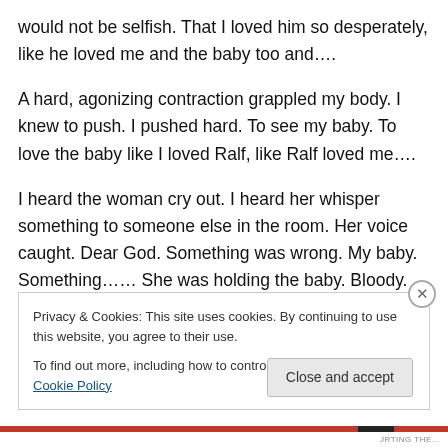would not be selfish. That I loved him so desperately, like he loved me and the baby too and….
A hard, agonizing contraction grappled my body. I knew to push. I pushed hard. To see my baby. To love the baby like I loved Ralf, like Ralf loved me….
I heard the woman cry out. I heard her whisper something to someone else in the room. Her voice caught. Dear God. Something was wrong. My baby. Something…… She was holding the baby. Bloody. Still. Why didn't she clean him?
Privacy & Cookies: This site uses cookies. By continuing to use this website, you agree to their use.
To find out more, including how to control cookies, see here: Cookie Policy
Close and accept